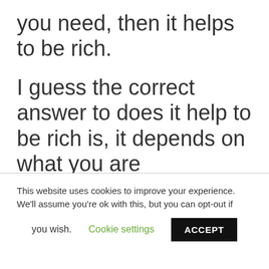you need, then it helps to be rich.
I guess the correct answer to does it help to be rich is, it depends on what you are measuring.
Regardless, if you want to get rid of your pebbles, I can help you do it faster.
This website uses cookies to improve your experience. We'll assume you're ok with this, but you can opt-out if you wish. Cookie settings ACCEPT